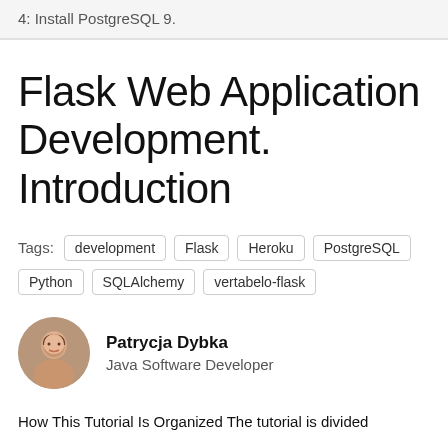4: Install PostgreSQL 9.
Flask Web Application Development. Introduction
Tags: development  Flask  Heroku  PostgreSQL  Python  SQLAlchemy  vertabelo-flask
Patrycja Dybka
Java Software Developer
How This Tutorial Is Organized The tutorial is divided